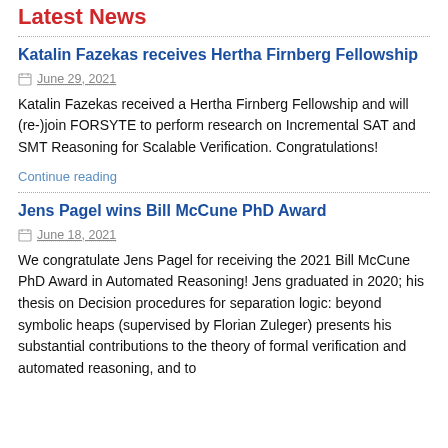Latest News
Katalin Fazekas receives Hertha Firnberg Fellowship
June 29, 2021
Katalin Fazekas received a Hertha Firnberg Fellowship and will (re-)join FORSYTE to perform research on Incremental SAT and SMT Reasoning for Scalable Verification. Congratulations!
Continue reading
Jens Pagel wins Bill McCune PhD Award
June 18, 2021
We congratulate Jens Pagel for receiving the 2021 Bill McCune PhD Award in Automated Reasoning! Jens graduated in 2020; his thesis on Decision procedures for separation logic: beyond symbolic heaps (supervised by Florian Zuleger) presents his substantial contributions to the theory of formal verification and automated reasoning, and to